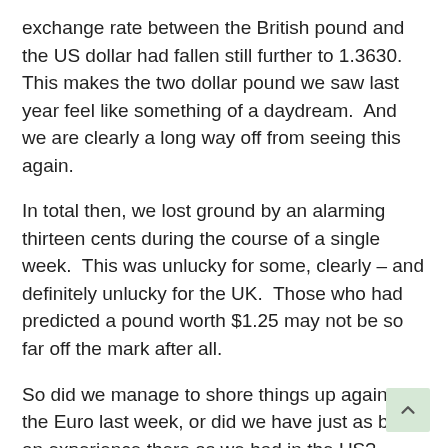exchange rate between the British pound and the US dollar had fallen still further to 1.3630.  This makes the two dollar pound we saw last year feel like something of a daydream.  And we are clearly a long way off from seeing this again.
In total then, we lost ground by an alarming thirteen cents during the course of a single week.  This was unlucky for some, clearly – and definitely unlucky for the UK.  Those who had predicted a pound worth $1.25 may not be so far off the mark after all.
So did we manage to shore things up against the Euro last week, or did we have just as bad an experience there as we had in the US?
We had finished on an exchange rate of 1.1244, so we were clearly looking to improve on that and move further away from reaching parity with the European single currency.  But how well did we do?
Once again we didn't get a good start.  By the close of play on